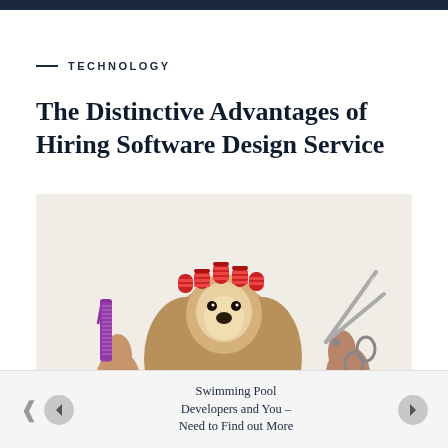— TECHNOLOGY
The Distinctive Advantages of Hiring Software Design Service
[Figure (photo): A Shih Tzu dog with red hair curlers on top of its head, long flowing fur, being held by two hands: one holding a purple comb on the left and another holding scissors on the right, photographed against a white background.]
Swimming Pool Developers and You – Need to Find out More